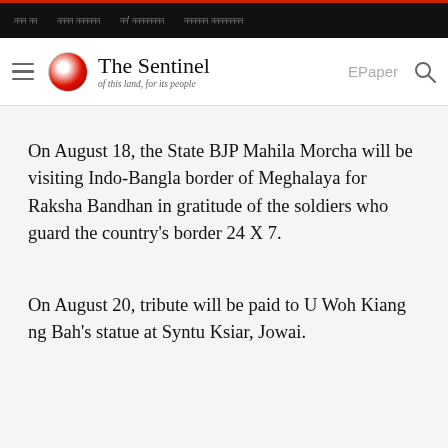ননন নন | নননন নননননন | নন' নননননননন | নননননন নননননননন
[Figure (logo): The Sentinel newspaper logo with tagline 'of this land, for its people', hamburger menu icon, EPaper link, and search icon]
On August 18, the State BJP Mahila Morcha will be visiting Indo-Bangla border of Meghalaya for Raksha Bandhan in gratitude of the soldiers who guard the country's border 24 X 7.
On August 20, tribute will be paid to U Woh Kiang ng Bah's statue at Syntu Ksiar, Jowai.